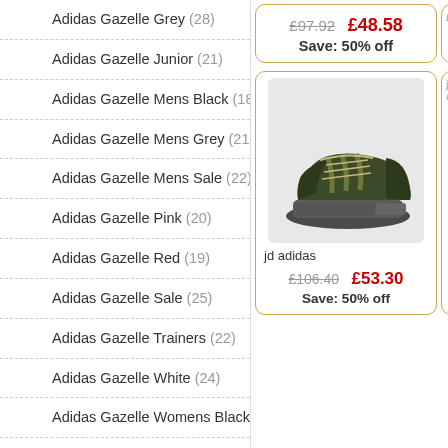Adidas Gazelle Grey (28)
Adidas Gazelle Junior (21)
Adidas Gazelle Mens Black (18)
Adidas Gazelle Mens Grey (21)
Adidas Gazelle Mens Sale (22)
Adidas Gazelle Pink (20)
Adidas Gazelle Red (19)
Adidas Gazelle Sale (25)
Adidas Gazelle Trainers (22)
Adidas Gazelle White (24)
Adidas Gazelle Womens Black (20)
Adidas Gazelle Womens Grey (23)
Adidas Gazelle Womens Pink (23)
Adidas Gazelle Womens Sale (21)
Adidas Hamburg (28)
Adidas Hamburg Sale (22)
£97.92  £48.58  Save: 50% off
[Figure (photo): Adidas NMD olive/khaki green trainer shoe on grey background]
jd adidas
£106.40  £53.30  Save: 50% off